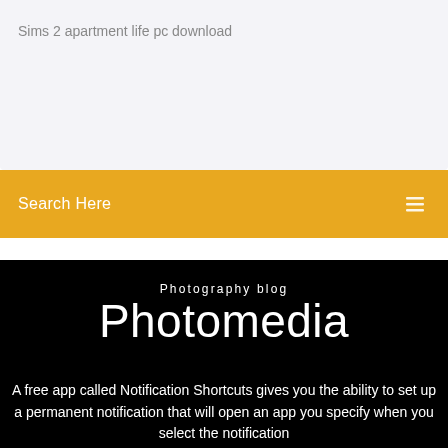Sims 2 apartment life pc download
Search Here
Photography blog
Photomedia
A free app called Notification Shortcuts gives you the ability to set up a permanent notification that will open an app you specify when you select the notification